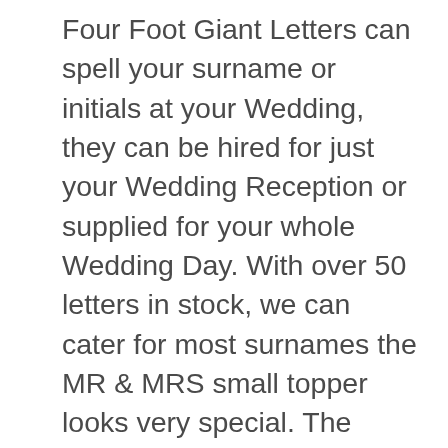Four Foot Giant Letters can spell your surname or initials at your Wedding, they can be hired for just your Wedding Reception or supplied for your whole Wedding Day. With over 50 letters in stock, we can cater for most surnames the MR & MRS small topper looks very special. The Giant Letters use cool white bulbs each letter is pure white and looks stunning at your Wedding. The 4 ft Giant letters can be included in your Wedding DJ package creating a unique backdrop to your Wedding Day and Reception. Giant Four Foot LOVE or MR & MRS are also very popular choices when hiring giant letters for your Wedding Day. Each marquee letter is priced individually, contact us for a quote. We